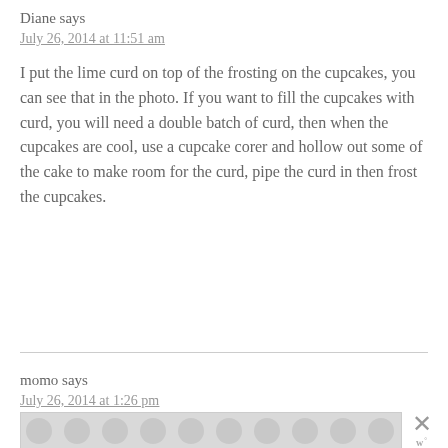Diane says
July 26, 2014 at 11:51 am
I put the lime curd on top of the frosting on the cupcakes, you can see that in the photo. If you want to fill the cupcakes with curd, you will need a double batch of curd, then when the cupcakes are cool, use a cupcake corer and hollow out some of the cake to make room for the curd, pipe the curd in then frost the cupcakes.
momo says
July 26, 2014 at 1:26 pm
[Figure (other): Advertisement banner with polka dot pattern and close button with X and W logo]